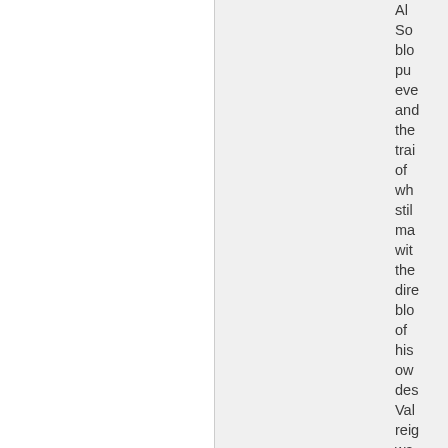So blo pu eve and the tra of wh sti ma wit the dire blo of his ow des Val reig wa the lon